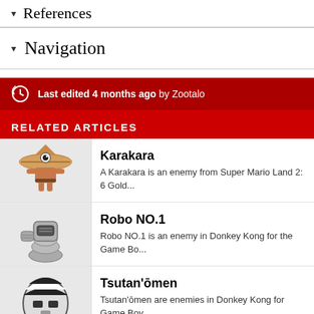▾ References
▾ Navigation
Last edited 4 months ago by Zootalo
RELATED ARTICLES
Karakara
A Karakara is an enemy from Super Mario Land 2: 6 Gold...
Robo NO.1
Robo NO.1 is an enemy in Donkey Kong for the Game Bo...
Tsutan'ōmen
Tsutan'ōmen are enemies in Donkey Kong for Game Boy....